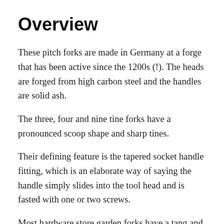Overview
These pitch forks are made in Germany at a forge that has been active since the 1200s (!). The heads are forged from high carbon steel and the handles are solid ash.
The three, four and nine tine forks have a pronounced scoop shape and sharp tines.
Their defining feature is the tapered socket handle fitting, which is an elaborate way of saying the handle simply slides into the tool head and is fasted with one or two screws.
Most hardware store garden forks have a tang and